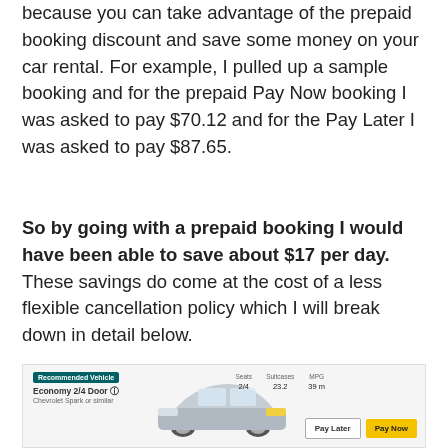because you can take advantage of the prepaid booking discount and save some money on your car rental. For example, I pulled up a sample booking and for the prepaid Pay Now booking I was asked to pay $70.12 and for the Pay Later I was asked to pay $87.65.
So by going with a prepaid booking I would have been able to save about $17 per day. These savings do come at the cost of a less flexible cancellation policy which I will break down in detail below.
[Figure (screenshot): Car rental booking screenshot showing a Chevrolet Spark Economy 2/4 Door with Recommended Vehicle badge, car image, specs (Seats 2/4, Suitcases 23.2, MPG 39.8), and two booking buttons: Pay Later and Pay Now (yellow)]